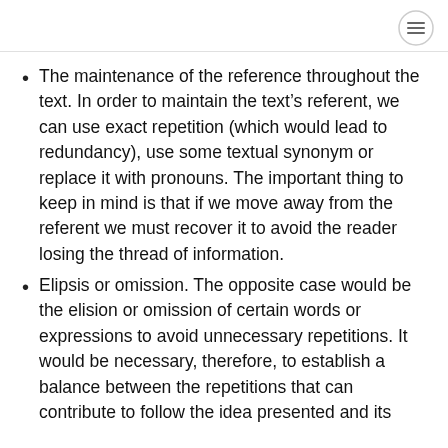The maintenance of the reference throughout the text. In order to maintain the text’s referent, we can use exact repetition (which would lead to redundancy), use some textual synonym or replace it with pronouns. The important thing to keep in mind is that if we move away from the referent we must recover it to avoid the reader losing the thread of information.
Elipsis or omission. The opposite case would be the elision or omission of certain words or expressions to avoid unnecessary repetitions. It would be necessary, therefore, to establish a balance between the repetitions that can contribute to follow the idea presented and its